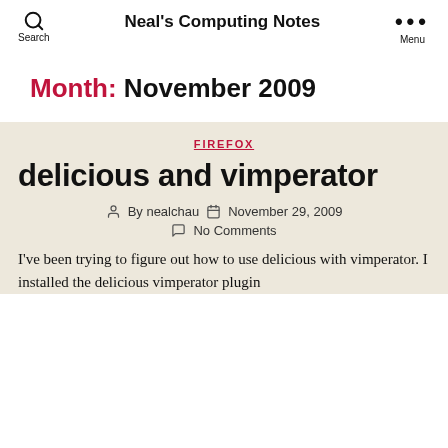Neal's Computing Notes
Month: November 2009
FIREFOX
delicious and vimperator
By nealchau  November 29, 2009  No Comments
I've been trying to figure out how to use delicious with vimperator. I installed the delicious vimperator plugin